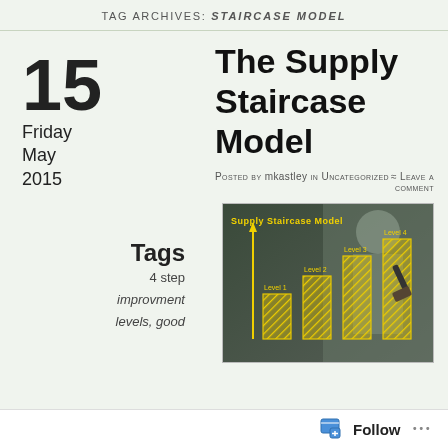TAG ARCHIVES: STAIRCASE MODEL
The Supply Staircase Model
15 Friday May 2015
Posted by mkastley in Uncategorized  ≈ Leave a comment
[Figure (photo): Photo showing a bar chart labeled 'Supply Staircase Model' with four staircase-style bars labeled Level 1, Level 2, Level 3, Level 4 drawn in yellow on a dark background, with a hand holding a marker.]
Tags
4 step
improvment
levels, good